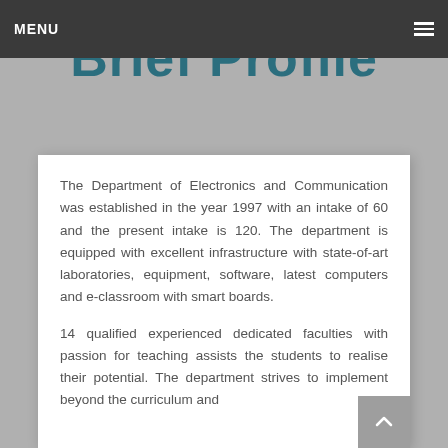MENU
Brief Profile
The Department of Electronics and Communication was established in the year 1997 with an intake of 60 and the present intake is 120. The department is equipped with excellent infrastructure with state-of-art laboratories, equipment, software, latest computers and e-classroom with smart boards.
14 qualified experienced dedicated faculties with passion for teaching assists the students to realise their potential. The department strives to implement beyond the curriculum and